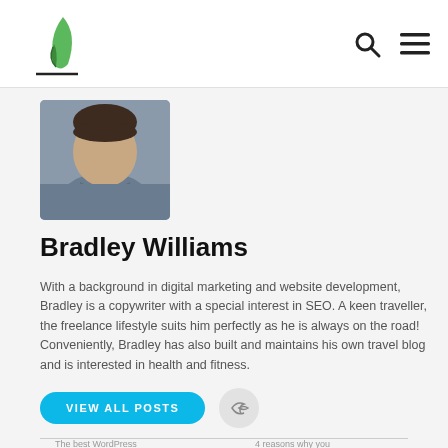Bradley Williams author page with logo, search and menu icons
[Figure (photo): Profile photo of Bradley Williams, a young man in a grey shirt, cropped to shoulders]
Bradley Williams
With a background in digital marketing and website development, Bradley is a copywriter with a special interest in SEO. A keen traveller, the freelance lifestyle suits him perfectly as he is always on the road! Conveniently, Bradley has also built and maintains his own travel blog and is interested in health and fitness.
VIEW ALL POSTS
The best WordPress   4 reasons why you